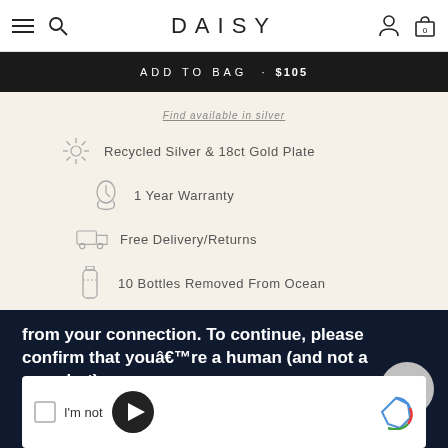DAISY
ADD TO BAG · $105
Find available in silver
Recycled Silver & 18ct Gold Plate
1 Year Warranty
Free Delivery/Returns
10 Bottles Removed From Ocean
from your connection. To continue, please confirm that youâre a human (and not a spambot).
[Figure (screenshot): CAPTCHA verification box with reCAPTCHA logo, checkbox and 'I'm not' text, play button overlay]